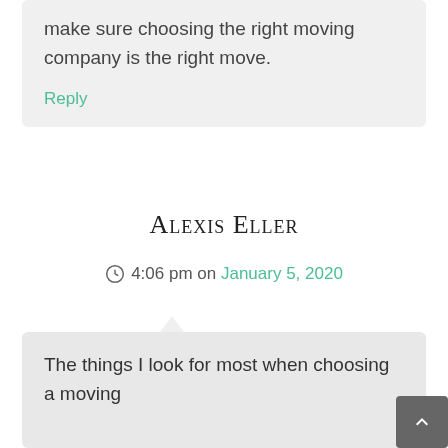make sure choosing the right moving company is the right move.
Reply
Alexis Eller
4:06 pm on January 5, 2020
The things I look for most when choosing a moving